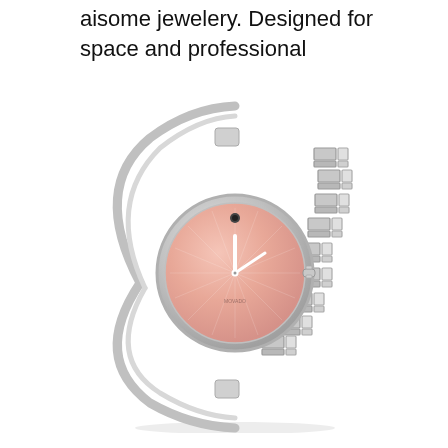aisome jewelery. Designed for space and professional
[Figure (photo): A women's silver bangle-style watch with a pink/rose dial and a single dot marker at 12 o'clock (Movado style). The bracelet has a split bangle on the left side and a decorative link bracelet on the right side. The watch face is round with silver hands and a crown on the right side.]